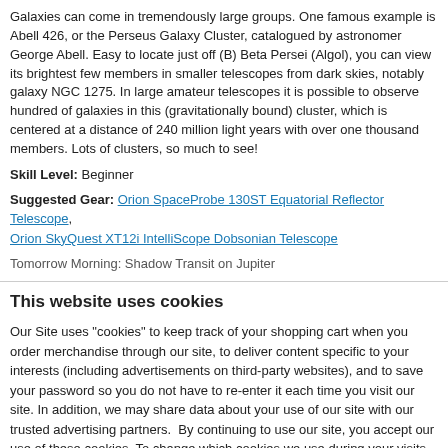Galaxies can come in tremendously large groups. One famous example is Abell 426, or the Perseus Galaxy Cluster, catalogued by astronomer George Abell. Easy to locate just off (B) Beta Persei (Algol), you can view its brightest few members in smaller telescopes from dark skies, notably galaxy NGC 1275. In large amateur telescopes it is possible to observe hundred of galaxies in this (gravitationally bound) cluster, which is centered at a distance of 240 million light years with over one thousand members. Lots of clusters, so much to see!
Skill Level: Beginner
Suggested Gear: Orion SpaceProbe 130ST Equatorial Reflector Telescope, Orion SkyQuest XT12i IntelliScope Dobsonian Telescope
Tomorrow Morning: Shadow Transit on Jupiter
This website uses cookies
Our Site uses "cookies" to keep track of your shopping cart when you order merchandise through our site, to deliver content specific to your interests (including advertisements on third-party websites), and to save your password so you do not have to re-enter it each time you visit our site. In addition, we may share data about your use of our site with our trusted advertising partners.  By continuing to use our site, you accept our use of these cookies. To change which cookies we use during your visits to our site, click Show details.
OK
Show details